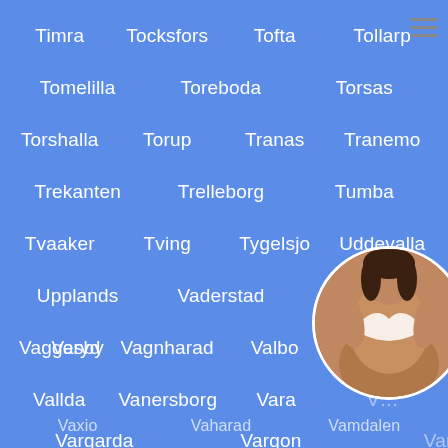Timra
Tocksfors
Tofta
Tollarp
Tomelilla
Toreboda
Torsas
Torshalla
Torup
Tranas
Tranemo
Trekanten
Trelleborg
Tumba
Tvaaker
Tving
Tygelsjo
Uddevalla
Upplands Vasby
Vaderstad
Vadstena
Vaggeryd
Vagnharad
Valbo
Valla
Vallda
Vanersborg
Vara
Vargarda
Vargon
Varnhem
Vasterhaninge
Vaxio
Vaharad
Vamdalen